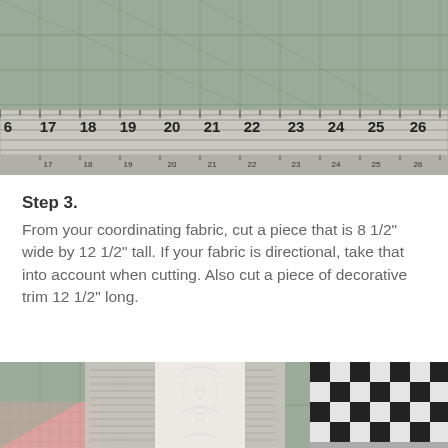[Figure (photo): Photo of a quilting ruler/cutting mat showing measurements from 16 to 26 inches, with grid lines visible on the cutting mat below the ruler.]
Step 3.
From your coordinating fabric, cut a piece that is 8 1/2" wide by 12 1/2" tall.  If your fabric is directional, take that into account when cutting.  Also cut a piece of decorative trim 12 1/2" long.
[Figure (photo): Photo of fabric pieces on a cutting mat, including a text-print fabric, a white lace/doily piece, and black-and-white checkered fabric squares, along with a pink patterned fabric in the corner.]